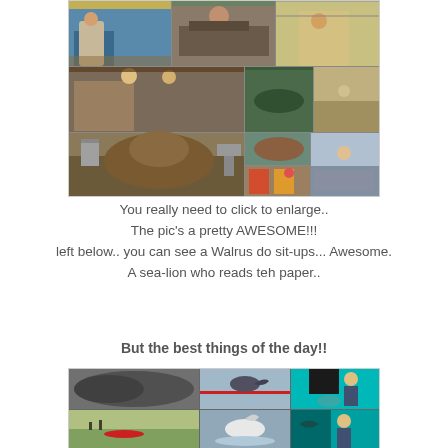[Figure (photo): Collage of photos from a zoo/aquarium visit showing children, a walrus doing sit-ups, a sea-lion, stingrays, and other marine animals]
You really need to click to enlarge..
The pic's a pretty AWESOME!!!
left below.. you can see a Walrus do sit-ups... Awesome.
A sea-lion who reads teh paper..
But the best things of the day!!
[Figure (photo): Second collage of photos showing manatees, dolphins jumping, and a child watching marine life through aquarium glass]